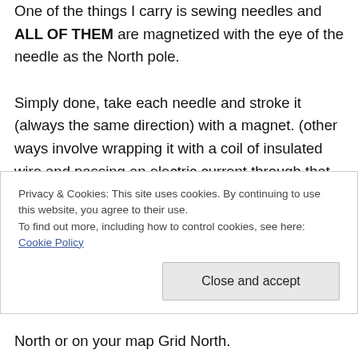One of the things I carry is sewing needles and ALL OF THEM are magnetized with the eye of the needle as the North pole. Simply done, take each needle and stroke it (always the same direction) with a magnet. (other ways involve wrapping it with a coil of insulated wire and passing an electric current through that coil from a low power battery, or rubbing it 'one way' in silk or fur). Find a still water puddle (or use a bowl or bucket) and float a leaf or bit of plastic on it.
Privacy & Cookies: This site uses cookies. By continuing to use this website, you agree to their use. To find out more, including how to control cookies, see here: Cookie Policy
North or on your map Grid North.